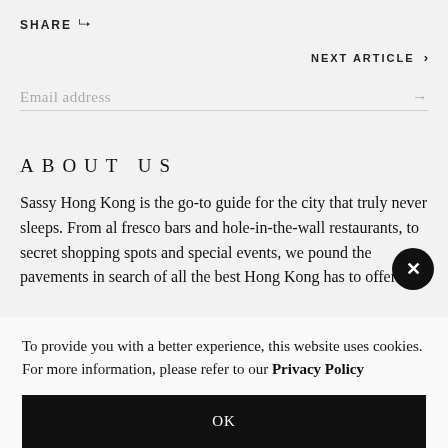SHARE
NEXT ARTICLE ›
Email address →
ABOUT US
Sassy Hong Kong is the go-to guide for the city that truly never sleeps. From al fresco bars and hole-in-the-wall restaurants, to secret shopping spots and special events, we pound the pavements in search of all the best Hong Kong has to offer.
To provide you with a better experience, this website uses cookies. For more information, please refer to our Privacy Policy
OK